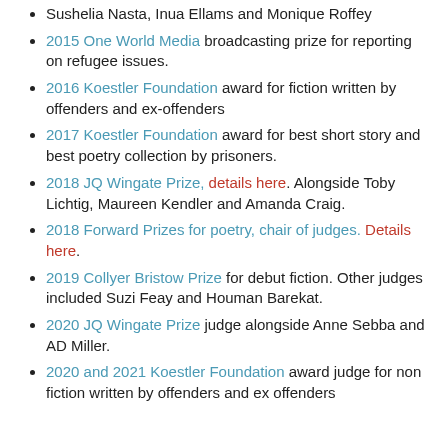Sushelia Nasta, Inua Ellams and Monique Roffey
2015 One World Media broadcasting prize for reporting on refugee issues.
2016 Koestler Foundation award for fiction written by offenders and ex-offenders
2017 Koestler Foundation award for best short story and best poetry collection by prisoners.
2018 JQ Wingate Prize, details here. Alongside Toby Lichtig, Maureen Kendler and Amanda Craig.
2018 Forward Prizes for poetry, chair of judges. Details here.
2019 Collyer Bristow Prize for debut fiction. Other judges included Suzi Feay and Houman Barekat.
2020 JQ Wingate Prize judge alongside Anne Sebba and AD Miller.
2020 and 2021 Koestler Foundation award judge for non fiction written by offenders and ex offenders